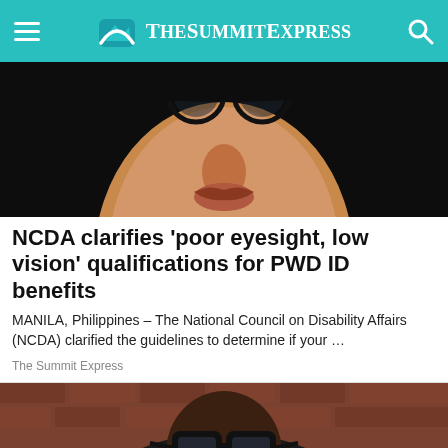TheSummitExpress
[Figure (photo): Close-up photo of a woman wearing round glasses, nose and lips visible, dark background]
NCDA clarifies 'poor eyesight, low vision' qualifications for PWD ID benefits
MANILA, Philippines – The National Council on Disability Affairs (NCDA) clarified the guidelines to determine if your …
The Summit Express
[Figure (photo): Photo of a man with large black-framed glasses and short hair, wearing a dark dotted shirt, sitting in front of a brick wall background]